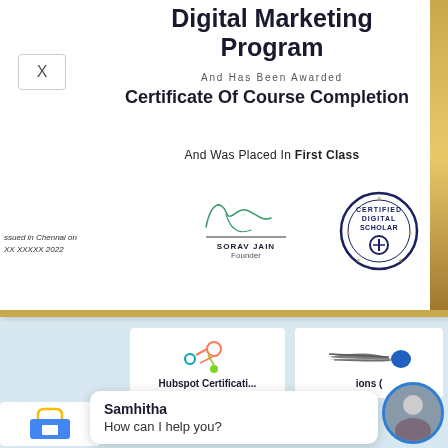Digital Marketing Program
And Has Been Awarded
Certificate Of Course Completion
And Was Placed In First Class
Issued in Chennai on XX XXXXX 2022
SORAV JAIN
Founder
[Figure (illustration): Certified Digital Scholar stamp/seal]
[Figure (logo): HubSpot logo]
Hubspot Certificati...
[Figure (logo): Shooting star/comet logo for another certification]
ions (
[Figure (photo): Samhitha chat avatar - woman photo]
Samhitha
How can I help you?